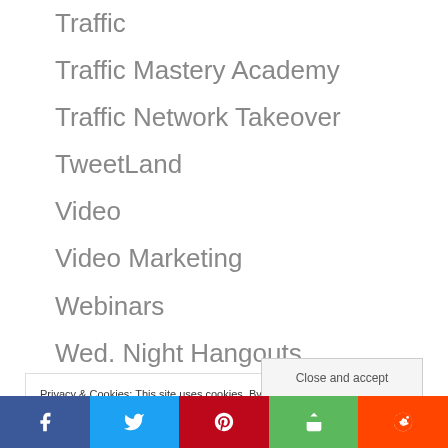Traffic
Traffic Mastery Academy
Traffic Network Takeover
TweetLand
Video
Video Marketing
Webinars
Wed. Night Hangouts
Weight Management
Privacy & Cookies: This site uses cookies. By continuing to use this website, you agree to their use.
To find out more, including how to control cookies, see here: Cookie Policy
Close and accept